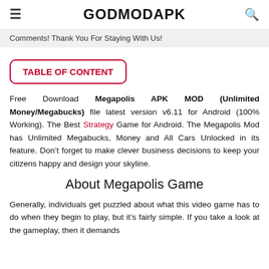GODMODAPK
Comments! Thank You For Staying With Us!
TABLE OF CONTENT
Free Download Megapolis APK MOD (Unlimited Money/Megabucks) file latest version v6.11 for Android (100% Working). The Best Strategy Game for Android. The Megapolis Mod has Unlimited Megabucks, Money and All Cars Unlocked in its feature. Don’t forget to make clever business decisions to keep your citizens happy and design your skyline.
About Megapolis Game
Generally, individuals get puzzled about what this video game has to do when they begin to play, but it’s fairly simple. If you take a look at the gameplay, then it demands